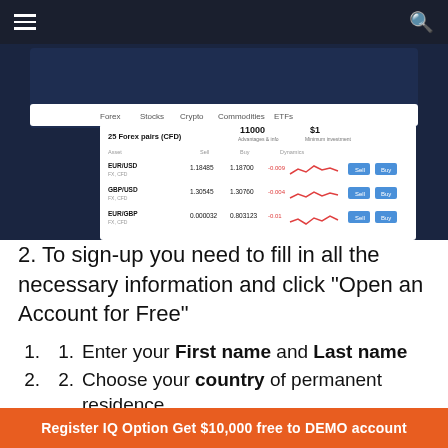[Figure (screenshot): Navigation bar of a website with hamburger menu icon on left and search icon on right, dark background]
[Figure (screenshot): IQ Option trading platform screenshot showing Forex pairs (CFD) table with currency pairs EUR/USD, GBP/USD, EUR/GBP, their bid/ask prices, and mini sparkline charts with Sell/Buy buttons. Navigation tabs: Forex, Stocks, Crypto, Commodities, ETFs]
2. To sign-up you need to fill in all the necessary information and click "Open an Account for Free"
1. Enter your First name and Last name
2. Choose your country of permanent residence
3. Enter a valid email address.
4. Create a strong password.
Register IQ Option Get $10,000 free to DEMO account